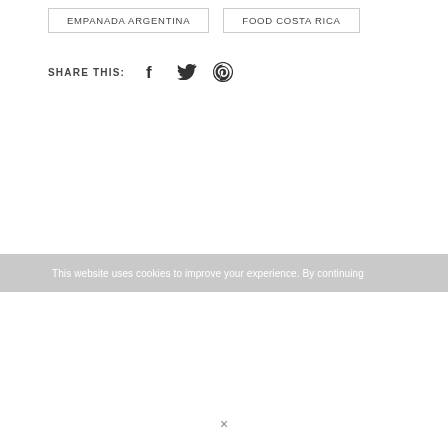EMPANADA ARGENTINA
FOOD COSTA RICA
SHARE THIS:
[Figure (other): Social share icons: Facebook, Twitter, Pinterest]
This website uses cookies to improve your experience. By continuing
×